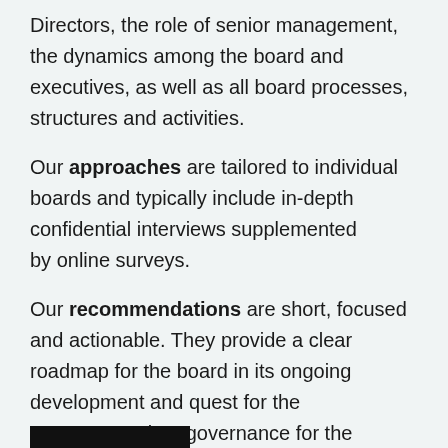Directors, the role of senior management, the dynamics among the board and executives, as well as all board processes, structures and activities.
Our approaches are tailored to individual boards and typically include in-depth confidential interviews supplemented by online surveys.
Our recommendations are short, focused and actionable. They provide a clear roadmap for the board in its ongoing development and quest for the most appropriate governance for the organisation.
[Figure (other): Black rectangular bar at the bottom of the page]